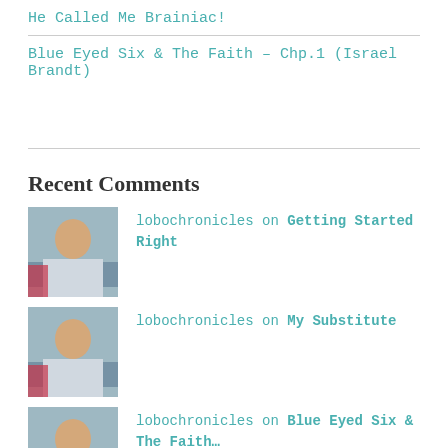He Called Me Brainiac!
Blue Eyed Six & The Faith – Chp.1 (Israel Brandt)
Recent Comments
lobochronicles on Getting Started Right
lobochronicles on My Substitute
lobochronicles on Blue Eyed Six & The Faith…
Krista Encarnacion on Blue Eyed Six & The Faith…